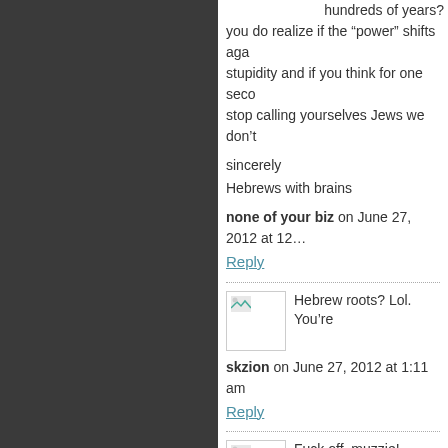hundreds of years?
you do realize if the “power” shifts aga... stupidity and if you think for one seco... stop calling yourselves Jews we don’t
sincerely
Hebrews with brains
none of your biz on June 27, 2012 at 12...
Reply
[Figure (photo): Avatar thumbnail image placeholder]
Hebrew roots? Lol. You’re
skzion on June 27, 2012 at 1:11 am
Reply
[Figure (photo): Avatar thumbnail image placeholder]
Fuck off, muzzie!